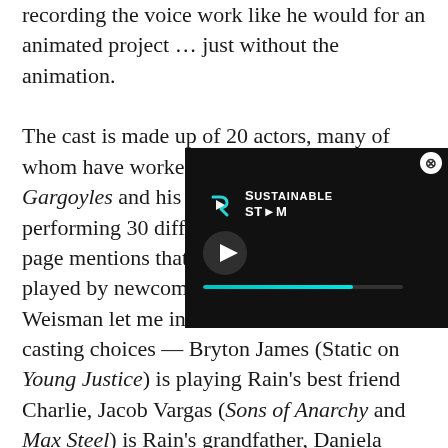recording the voice work like he would for an animated project … just without the animation.

The cast is made up of 20 ac[tors, many of whom] have worked with Weisman [before on] Gargoyles and his other tele[vision work, with some] performing 30 different roles. The Kickstarter page mentions that Rain herself will be played by newcomer Brittany Uomoleale, but Weisman let me in on some of the other casting choices — Bryton James (Static on Young Justice) is playing Rain's best friend Charlie, Jacob Vargas (Sons of Anarchy and Max Steel) is Rain's grandfather, Daniela Bobadilla (Anger Management) is the kids' new friend Miranda and Cowboy Bebop's Steve Blum is
[Figure (screenshot): A video player overlay showing the Sustainable Stream logo (stylized S with play arrow) in white on black background, with a play button triangle and a teal progress bar.]